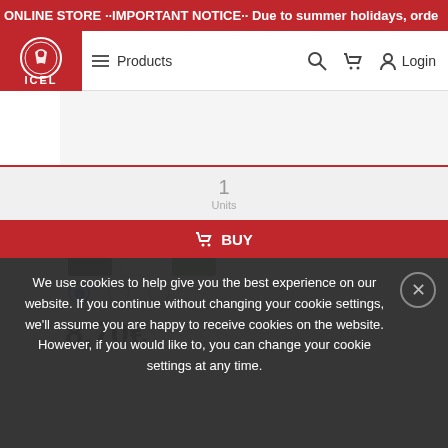ONLINE STORE ·· IMPORTANT NOTICE ·· Due to summer holidays, orde
[Figure (screenshot): ICEL brand logo - red square with circular knife/food logo and ICEL text below]
Products  Login
g knife
More Information
28 100  200  500  .HR04000.120
Color swatches: black, white, green with radio buttons below
8,70€
1
Units
We use cookies to help give you the best experience on our website. If you continue without changing your cookie settings, we'll assume you are happy to receive cookies on the website. However, if you would like to, you can change your cookie settings at any time.